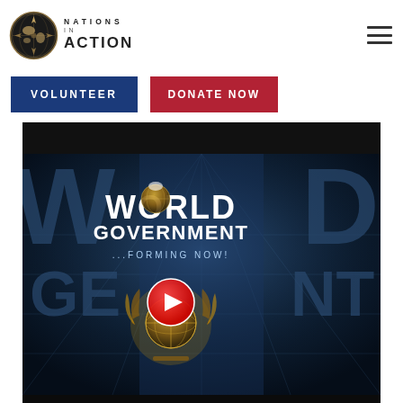[Figure (logo): Nations In Action logo — globe compass icon with text NATIONS IN ACTION]
[Figure (other): Hamburger menu icon (three horizontal lines)]
VOLUNTEER
DONATE NOW
[Figure (screenshot): Video player showing World Government ...Forming Now! title card with globe and UN emblem imagery, red play button overlay, and video controls bar showing 00:00 timestamp]